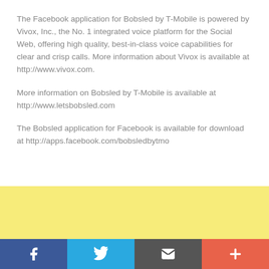The Facebook application for Bobsled by T-Mobile is powered by Vivox, Inc., the No. 1 integrated voice platform for the Social Web, offering high quality, best-in-class voice capabilities for clear and crisp calls. More information about Vivox is available at http://www.vivox.com.
More information on Bobsled by T-Mobile is available at http://www.letsbobsled.com
The Bobsled application for Facebook is available for download at http://apps.facebook.com/bobsledbytmo
[Figure (other): Yellow banner section]